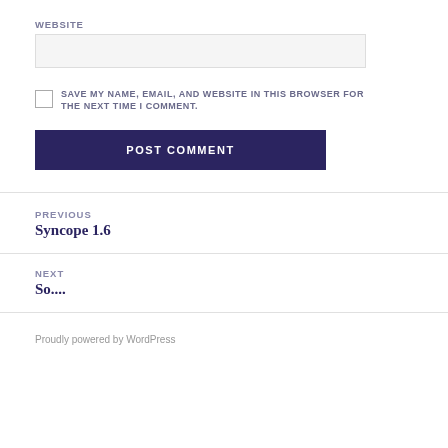WEBSITE
SAVE MY NAME, EMAIL, AND WEBSITE IN THIS BROWSER FOR THE NEXT TIME I COMMENT.
POST COMMENT
PREVIOUS
Syncope 1.6
NEXT
So....
Proudly powered by WordPress